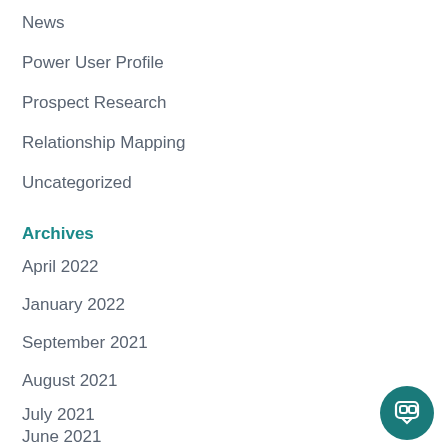News
Power User Profile
Prospect Research
Relationship Mapping
Uncategorized
Archives
April 2022
January 2022
September 2021
August 2021
July 2021
June 2021
May 2021
[Figure (screenshot): CharityCAN chat popup widget with logo, close button, and welcome message: 'Welcome to CharityCAN! If you have any questions, we're here to help!']